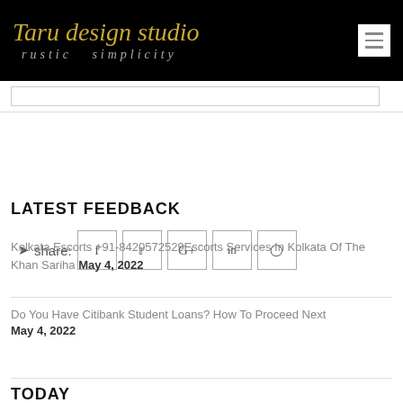Taru design studio rustic simplicity
[Figure (screenshot): Social share bar with Facebook, Twitter, Google+, LinkedIn, Instagram icons]
LATEST FEEDBACK
Kolkata Escorts +91-8420572529Escorts Services In Kolkata Of The Khan Sariha May 4, 2022
Do You Have Citibank Student Loans? How To Proceed Next May 4, 2022
TODAY